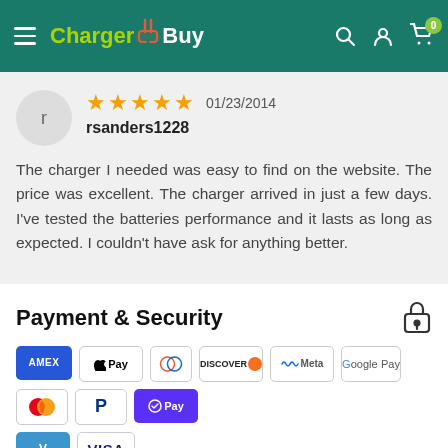ChargerBuy — navigation header with logo, search, account, cart icons
The charger I needed was easy to find on the website. The price was excellent. The charger arrived in just a few days. I've tested the batteries performance and it lasts as long as expected. I couldn't have ask for anything better.
Payment & Security
[Figure (infographic): Payment method icons: Amex, Apple Pay, Diners Club, Discover, Meta Pay, Google Pay, Mastercard, PayPal, ShopPay, Venmo, Visa]
Your payment information is processed securely. We do not